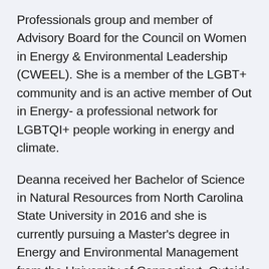Professionals group and member of Advisory Board for the Council on Women in Energy & Environmental Leadership (CWEEL). She is a member of the LGBT+ community and is an active member of Out in Energy- a professional network for LGBTQI+ people working in energy and climate.
Deanna received her Bachelor of Science in Natural Resources from North Carolina State University in 2016 and she is currently pursuing a Master's degree in Energy and Environmental Management from the University of Connecticut. Outside of her professional career, Deanna is active in